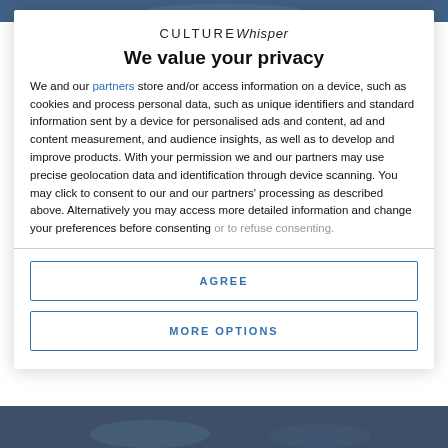[Figure (photo): Background photo strip at top of page, dark blue/teal tones]
CULTURE Whisper
We value your privacy
We and our partners store and/or access information on a device, such as cookies and process personal data, such as unique identifiers and standard information sent by a device for personalised ads and content, ad and content measurement, and audience insights, as well as to develop and improve products. With your permission we and our partners may use precise geolocation data and identification through device scanning. You may click to consent to our and our partners' processing as described above. Alternatively you may access more detailed information and change your preferences before consenting or to refuse consenting.
AGREE
MORE OPTIONS
[Figure (photo): Background photo strip at bottom of page, dark blue/grey tones]